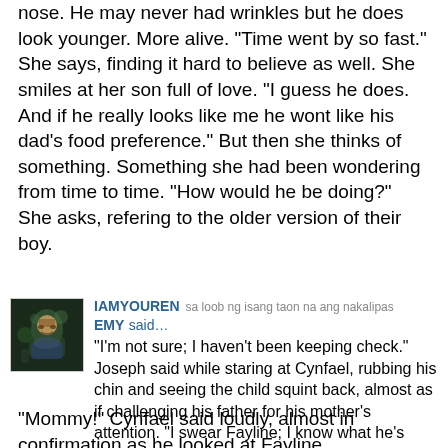nose. He may never had wrinkles but he does look younger. More alive. "Time went by so fast." She says, finding it hard to believe as well. She smiles at her son full of love. "I guess he does. And if he really looks like me he wont like his dad's food preference." But then she thinks of something. Something she had been wondering from time to time. "How would he be doing?" She asks, refering to the older version of their boy.
IAMYOUREN  sa loob ng isang taon na ang nakalipas
EMY said…
"I'm not sure; I haven't been keeping check." Joseph said while staring at Cynfael, rubbing his chin and seeing the child squint back, almost as if challenging his father for his mother's attention. "I swear Fayline; I know what he's doing." He said before picking Cynfael up, holding him up to the sky and shaking him a bit. "He's trying to steal you."
"Mommy!" Cynfael said loudly, almost in confirmation as he looked at Fayline,